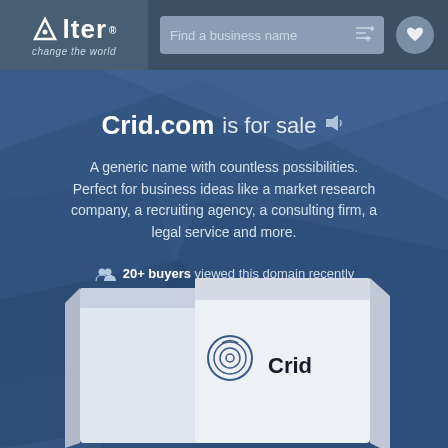[Figure (logo): Alter logo with tagline 'change the world' in top-left nav bar]
[Figure (screenshot): Search bar with placeholder 'Find a business name' and filter icon]
Crid.com is for sale
A generic name with countless possibilities. Perfect for business ideas like a market research company, a recruiting agency, a consulting firm, a legal service and more.
20+ buyers viewed this domain recently
[Figure (illustration): 3D box product mockup showing Crid logo and brand name at the bottom of the page]